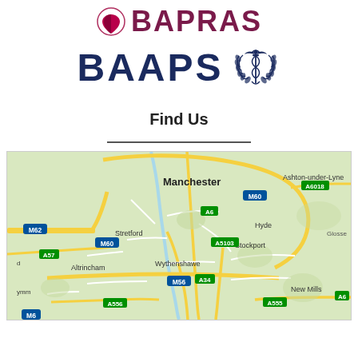[Figure (logo): BAPRAS logo with magenta/red heart-like icon and text BAPRAS in dark maroon/magenta]
[Figure (logo): BAAPS logo with large dark navy text BAAPS and a medical caduceus emblem to the right]
Find Us
[Figure (map): Google Maps style map showing Manchester and surrounding areas including Stretford, Wythenshawe, Altrincham, Stockport, Hyde, Ashton-under-Lyne, with motorway labels M60, M62, M56, M6, A6, A34, A57, A555, A556, A5103, A6018]